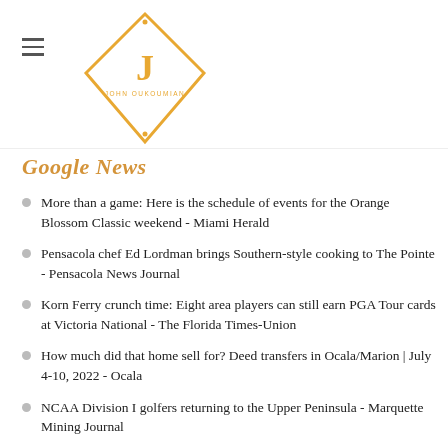John Oukoumian logo and hamburger menu
Google News
More than a game: Here is the schedule of events for the Orange Blossom Classic weekend - Miami Herald
Pensacola chef Ed Lordman brings Southern-style cooking to The Pointe - Pensacola News Journal
Korn Ferry crunch time: Eight area players can still earn PGA Tour cards at Victoria National - The Florida Times-Union
How much did that home sell for? Deed transfers in Ocala/Marion | July 4-10, 2022 - Ocala
NCAA Division I golfers returning to the Upper Peninsula - Marquette Mining Journal
WHAT TO DO, WHERE TO GO - Florida Weekly
67th U.S. Senior Amateur: Meet the Quarterfinalists - USGA
Trump adds ex-Florida solicitor general to Mar-a-Lago legal team, source says - Reuters
Bobby Weed opens Stillwater in Florida - The First Call